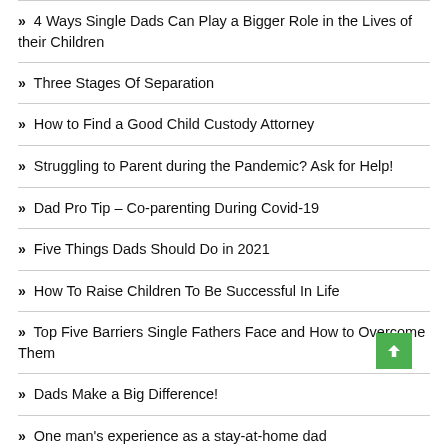4 Ways Single Dads Can Play a Bigger Role in the Lives of their Children
Three Stages Of Separation
How to Find a Good Child Custody Attorney
Struggling to Parent during the Pandemic? Ask for Help!
Dad Pro Tip – Co-parenting During Covid-19
Five Things Dads Should Do in 2021
How To Raise Children To Be Successful In Life
Top Five Barriers Single Fathers Face and How to Overcome Them
Dads Make a Big Difference!
One man's experience as a stay-at-home dad